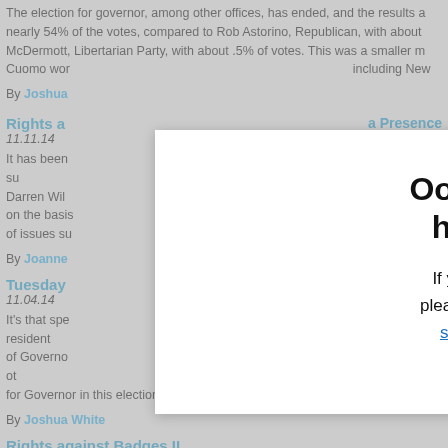The election for governor, among other offices, has ended, and the results a... nearly 54% of the votes, compared to Rob Astorino, Republican, with about... McDermott, Libertarian Party, with about .5% of votes. This was a smaller m... Cuomo wor... eight upstate counties, winning most urban centers including New...
By Joshua
Rights a...
a Presence
11.11.14
It has been... D and the su... Darren Wil... of 18 year ol... on the basis... surrounding... of issues su...
By Joanne
Tuesday
11.04.14
It’s that spe... every resident... of Governo... – among ot... for Governor in this election are Andrew Cuomo....
By Joshua White
Rights against Badges II
10.07.14
Fifty-nine days after the shooting of 18 year old Michael Brown, residents of... change for a special prosecutor, and overall justice for their community. I a...
[Figure (screenshot): Modal dialog overlay with white background showing 'Oops! This site has expired.' message. Text reads: If you are the site owner, please renew your premium subscription or contact support.]